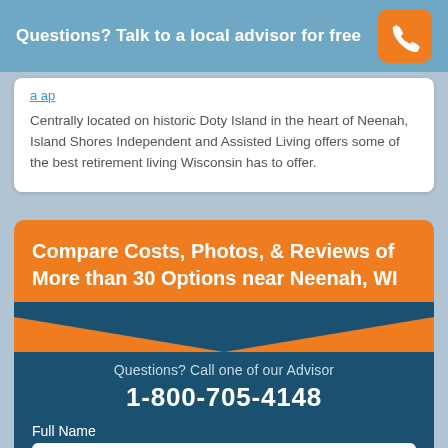Questions? Talk to a local advisor for free
Centrally located on historic Doty Island in the heart of Neenah, Island Shores Independent and Assisted Living offers some of the best retirement living Wisconsin has to offer.
Compare Costs, Photos, & Reviews of More than 30 Options near Neenah, WI
Questions? Call one of our Advisor
1-800-705-4148
Full Name